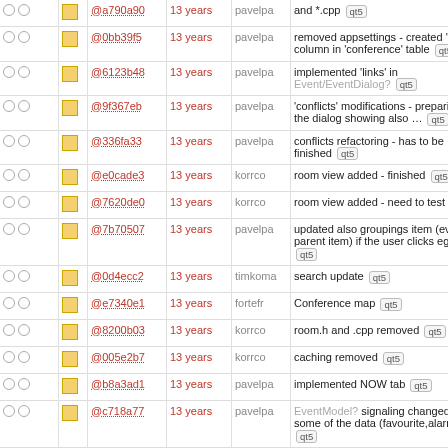|  |  | hash | age | author | message |
| --- | --- | --- | --- | --- | --- |
|  |  | @a790a90 | 13 years | pavelpa | and *.cpp qt5 |
|  |  | @0bb39f5 | 13 years | pavelpa | removed appsettings - created 'active' column in 'conference' table qt5 |
|  |  | @6123b48 | 13 years | pavelpa | implemented 'links' in Event/EventDialog? qt5 |
|  |  | @9f367eb | 13 years | pavelpa | 'conflicts' modifications - preparing for the dialog showing also ... qt5 |
|  |  | @336fa33 | 13 years | pavelpa | conflicts refactoring - has to be finished qt5 |
|  |  | @e0cade3 | 13 years | korrco | room view added - finished qt5 |
|  |  | @7620de0 | 13 years | korrco | room view added - need to test it qt5 |
|  |  | @7b70507 | 13 years | pavelpa | updated also groupings item (event parent item) if the user clicks eg. ... qt5 |
|  |  | @0d4ecc2 | 13 years | timkoma | search update qt5 |
|  |  | @e7340e1 | 13 years | fortefr | Conference map qt5 |
|  |  | @8200b03 | 13 years | korrco | room.h and .cpp removed qt5 |
|  |  | @005e2b7 | 13 years | korrco | caching removed qt5 |
|  |  | @b8a3ad1 | 13 years | pavelpa | implemented NOW tab qt5 |
|  |  | @c718a77 | 13 years | pavelpa | EventModel? signaling changed - if some of the data (favourite,alarm) ... qt5 |